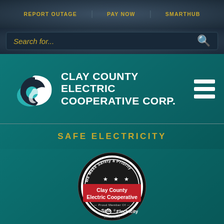REPORT OUTAGE | PAY NOW | SMARTHUB
Search for...
CLAY COUNTY ELECTRIC COOPERATIVE CORP.
SAFE ELECTRICITY
[Figure (logo): Safe Electricity badge/seal: circular badge with text 'We Make Safety a Priority', three stars, red band reading 'Clay County Electric Cooperative', and 'Proud Member Of Safe Electricity' logo at bottom]